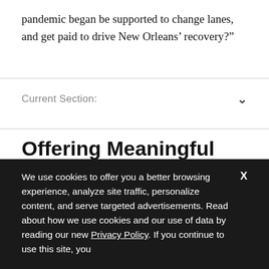pandemic began be supported to change lanes, and get paid to drive New Orleans’ recovery?”
Current Section:
Offering Meaningful Work to the Suddenly Unemployed
To carry out that assignment, Resilience Force is hiring and training workers like Pam Bourgeois,
We use cookies to offer you a better browsing experience, analyze site traffic, personalize content, and serve targeted advertisements. Read about how we use cookies and our use of data by reading our new Privacy Policy. If you continue to use this site, you